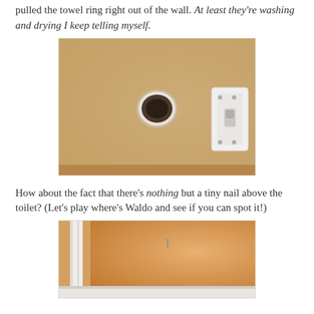pulled the towel ring right out of the wall. At least they're washing and drying I keep telling myself.
[Figure (photo): A hole in an orange/tan bathroom wall where a towel ring was pulled out, showing a round hole with drywall damage. A white light switch plate is visible on the right side.]
How about the fact that there's nothing but a tiny nail above the toilet? (Let's play where's Waldo and see if you can spot it!)
[Figure (photo): An orange/tan bathroom wall showing a corner with white baseboard molding, with a tiny nail barely visible above the toilet area.]